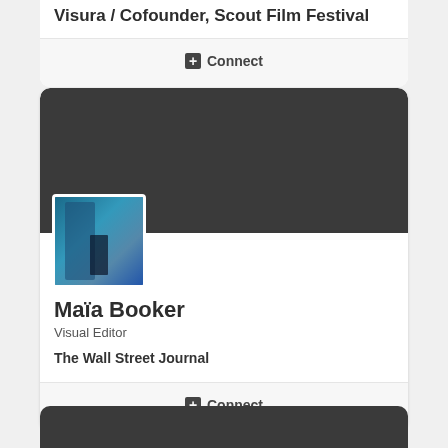Visura / Cofounder, Scout Film Festival
Connect
[Figure (photo): Profile photo of Maia Booker showing a blue-toned alleyway scene]
Maïa Booker
Visual Editor
The Wall Street Journal
Connect